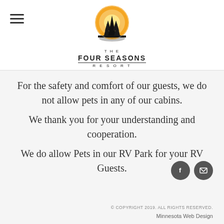[Figure (logo): The Four Seasons Resort logo: circular emblem with orange/yellow sunburst and silhouetted pine trees, with text 'THE FOUR SEASONS RESORT' below]
For the safety and comfort of our guests, we do not allow pets in any of our cabins. We thank you for your understanding and cooperation. We do allow Pets in our RV Park for your RV Guests.
[Figure (illustration): Social media icons: Facebook (f) and email/envelope icons in dark grey circles]
© COPYRIGHT 2019. ALL RIGHTS RESERVED.
Minnesota Web Design